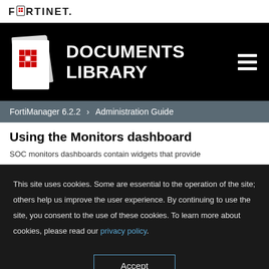FORTINET
[Figure (logo): Fortinet Documents Library header with icon of stacked documents with red cross/diamond logo and hamburger menu icon]
FortiManager 6.2.2 > Administration Guide
Using the Monitors dashboard
SOC monitors dashboards contain widgets that provide
This site uses cookies. Some are essential to the operation of the site; others help us improve the user experience. By continuing to use the site, you consent to the use of these cookies. To learn more about cookies, please read our privacy policy.
Accept